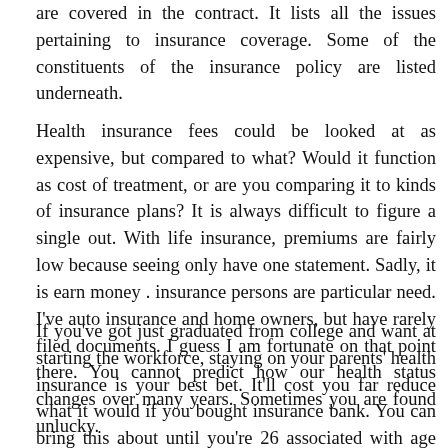are covered in the contract. It lists all the issues pertaining to insurance coverage. Some of the constituents of the insurance policy are listed underneath.
Health insurance fees could be looked at as expensive, but compared to what? Would it function as cost of treatment, or are you comparing it to kinds of insurance plans? It is always difficult to figure a single out. With life insurance, premiums are fairly low because seeing only have one statement. Sadly, it is earn money . insurance persons are particular need. I've auto insurance and home owners, but have rarely filed documents. I guess I am fortunate on that point there. You cannot predict how our health status changes over many years. Sometimes you are found unlucky.
If you've got just graduated from college and want at starting the workforce, staying on your parents' health insurance is your best bet. It'll cost you far reduce what it would if you bought insurance bank. You can bring this about until you're 26 associated with age and not married – unless you need to a better deal along with a new person in charge. In some states